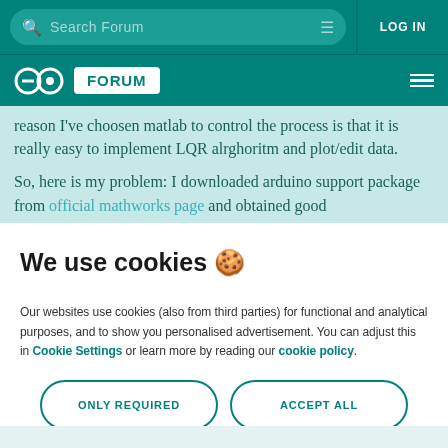Search Forum  |  LOG IN
[Figure (logo): Arduino infinity logo and FORUM badge on teal background]
reason I've choosen matlab to control the process is that it is really easy to implement LQR alrghoritm and plot/edit data.
So, here is my problem: I downloaded arduino support package from official mathworks page and obtained good
We use cookies 🍪
Our websites use cookies (also from third parties) for functional and analytical purposes, and to show you personalised advertisement. You can adjust this in Cookie Settings or learn more by reading our cookie policy.
ONLY REQUIRED  |  ACCEPT ALL